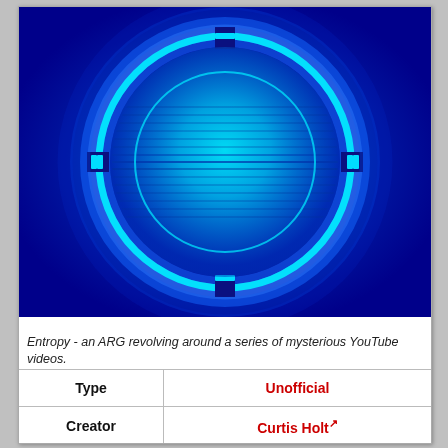[Figure (photo): A glowing cyan/blue circular shape resembling a crosshair or targeting reticle on a dark blue background. The circle has notches at top, bottom, left, and right, and the interior shows horizontal scan lines in cyan/aqua tones.]
Entropy - an ARG revolving around a series of mysterious YouTube videos.
| Type | Unofficial |
| Creator | Curtis Holt↗ |